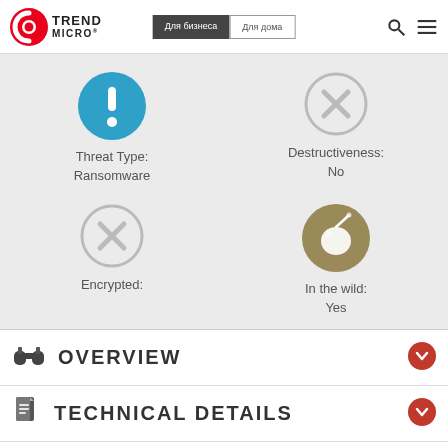[Figure (logo): Trend Micro logo with red swirl icon and TREND MICRO text]
[Figure (screenshot): Navigation bar with Для бизнеса (dark) and Для дома (light) buttons, search and menu icons]
[Figure (infographic): Blue circle with exclamation mark icon for Threat Type: Ransomware]
Threat Type:
Ransomware
[Figure (infographic): Gray circle with X icon for Destructiveness: No]
Destructiveness:
No
[Figure (infographic): Gray circle with X icon for Encrypted]
Encrypted:
[Figure (infographic): Olive/dark yellow circle with bomb icon for In the wild: Yes]
In the wild:
Yes
OVERVIEW
TECHNICAL DETAILS